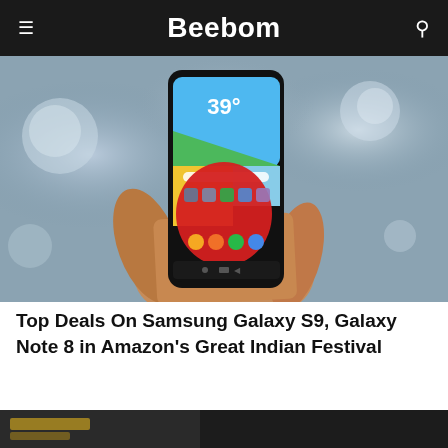Beebom
[Figure (photo): A hand holding a Samsung Galaxy S9 smartphone displaying the home screen with a red notification overlay. Background is blurred bokeh with warm tones.]
Top Deals On Samsung Galaxy S9, Galaxy Note 8 in Amazon's Great Indian Festival
[Figure (photo): Partial view of a second article image showing dark background with text, partially cut off at bottom of page.]